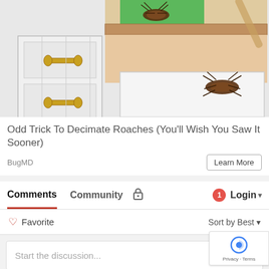[Figure (illustration): Illustration of cockroaches in kitchen drawers and cabinets. A cartoon-style drawing showing open drawers with cockroaches, kitchen utensils, and wooden surfaces.]
Odd Trick To Decimate Roaches (You'll Wish You Saw It Sooner)
BugMD
Learn More
Comments  Community  🔒  1  Login
♡ Favorite  Sort by Best
Start the discussion...